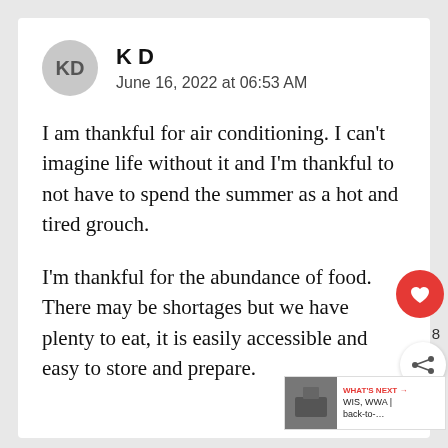KD — June 16, 2022 at 06:53 AM
I am thankful for air conditioning. I can't imagine life without it and I'm thankful to not have to spend the summer as a hot and tired grouch.
I'm thankful for the abundance of food. There may be shortages but we have plenty to eat, it is easily accessible and easy to store and prepare.